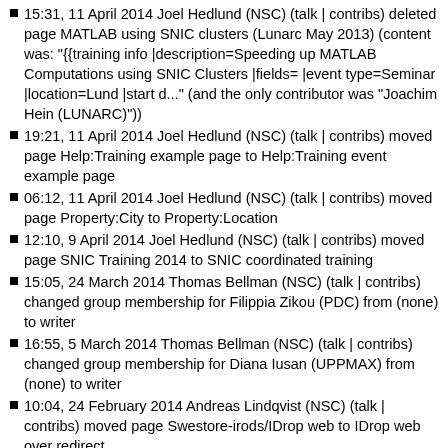15:31, 11 April 2014 Joel Hedlund (NSC) (talk | contribs) deleted page MATLAB using SNIC clusters (Lunarc May 2013) (content was: "{{training info |description=Speeding up MATLAB Computations using SNIC Clusters |fields= |event type=Seminar |location=Lund |start d..." (and the only contributor was "Joachim Hein (LUNARC)"))
19:21, 11 April 2014 Joel Hedlund (NSC) (talk | contribs) moved page Help:Training example page to Help:Training event example page
06:12, 11 April 2014 Joel Hedlund (NSC) (talk | contribs) moved page Property:City to Property:Location
12:10, 9 April 2014 Joel Hedlund (NSC) (talk | contribs) moved page SNIC Training 2014 to SNIC coordinated training
15:05, 24 March 2014 Thomas Bellman (NSC) (talk | contribs) changed group membership for Filippia Zikou (PDC) from (none) to writer
16:55, 5 March 2014 Thomas Bellman (NSC) (talk | contribs) changed group membership for Diana Iusan (UPPMAX) from (none) to writer
10:04, 24 February 2014 Andreas Lindqvist (NSC) (talk | contribs) moved page Swestore-irods/IDrop web to IDrop web over redirect
10:00, 24 February 2014 Andreas Lindqvist (NSC) (talk | contribs) moved page IDrop web to Swestore-irods/IDrop web
12:54, 30 January 2014 Pontus Freyhult (UPPMAX) (talk | contribs) uploaded File:IrodsBrowseViewZoom.png